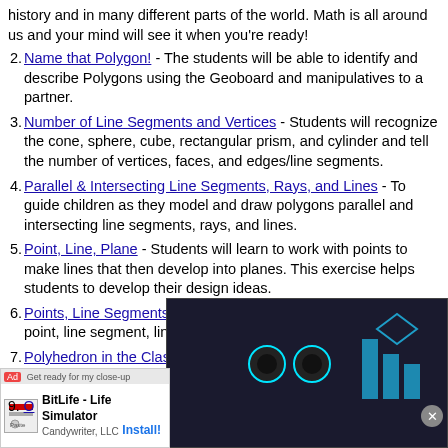history and in many different parts of the world. Math is all around us and your mind will see it when you're ready!
Name that Polygon! - The students will be able to identify and describe Polygons using the Geoboard and manipulatives to a partner.
Number of Line Segments and Vertices - Students will recognize the cone, sphere, cube, rectangular prism, and cylinder and tell the number of vertices, faces, and edges/line segments.
Parallel & Intersecting Line Segments, Rays, and Lines - To guide children as they model and draw polygons parallel and intersecting line segments, rays, and lines.
Point, Line, Plane - Students will learn to work with points to make lines that then develop into planes. This exercise helps students to develop their design ideas.
Points, Line Segments - Students will be able to recognize a point, line segment, line and a ray.
Polyhedron in the Classroom - The unit presented here uses the objectives found in U... Mathematics, but the acti... students can take extra ti...
Proving Triangle Congrue... solving congruency is ba...
[Figure (screenshot): Dark video overlay showing animated monster character with glowing eyes and AdMetricsPro watermark, with blue geometric logo bars on the right side and a close button]
[Figure (screenshot): Mobile app advertisement banner for BitLife - Life Simulator by Candywriter, LLC with Install button]